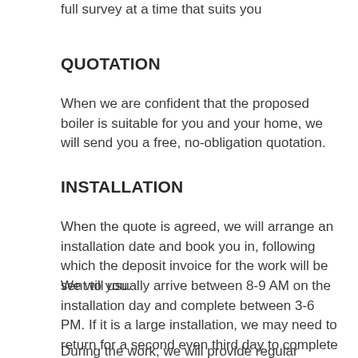full survey at a time that suits you
QUOTATION
When we are confident that the proposed boiler is suitable for you and your home, we will send you a free, no-obligation quotation.
INSTALLATION
When the quote is agreed, we will arrange an installation date and book you in, following which the deposit invoice for the work will be sent to you.
We will usually arrive between 8-9 AM on the installation day and complete between 3-6 PM. If it is a large installation, we may need to return for a second even third day to complete the installation.
During the work, we will provide regular updates as to